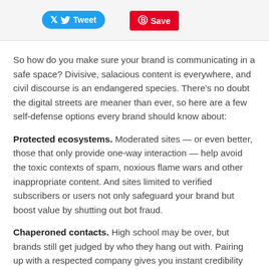Tweet | Save
So how do you make sure your brand is communicating in a safe space? Divisive, salacious content is everywhere, and civil discourse is an endangered species. There's no doubt the digital streets are meaner than ever, so here are a few self-defense options every brand should know about:
Protected ecosystems. Moderated sites — or even better, those that only provide one-way interaction — help avoid the toxic contexts of spam, noxious flame wars and other inappropriate content. And sites limited to verified subscribers or users not only safeguard your brand but boost value by shutting out bot fraud.
Chaperoned contacts. High school may be over, but brands still get judged by who they hang out with. Pairing up with a respected company gives you instant credibility with their users/followers and can elevate your brand's standing with them. The key word here is “respected” — make sure you do your due diligence on any potential partners to avoid any unpleasant surprises.